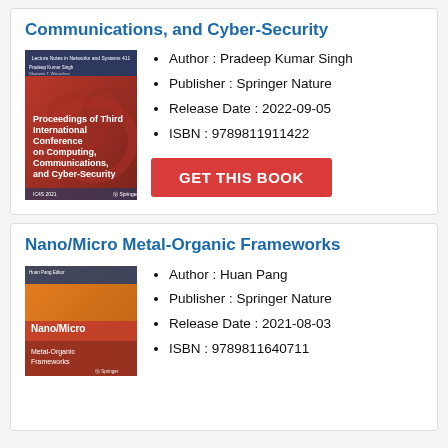Communications, and Cyber-Security
[Figure (photo): Book cover: Proceedings of Third International Conference on Computing, Communications, and Cyber-Security, red cover]
Author : Pradeep Kumar Singh
Publisher : Springer Nature
Release Date : 2022-09-05
ISBN : 9789811911422
Nano/Micro Metal-Organic Frameworks
[Figure (photo): Book cover: Nano/Micro Metal-Organic Frameworks, orange cover]
Author : Huan Pang
Publisher : Springer Nature
Release Date : 2021-08-03
ISBN : 9789811640711